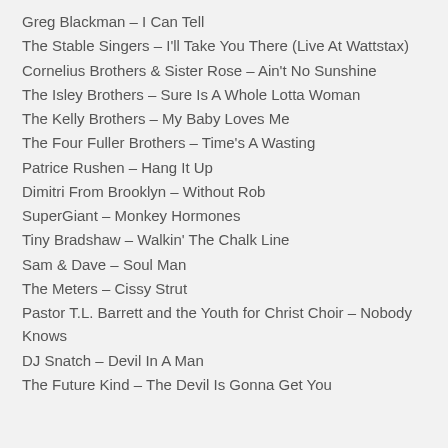Greg Blackman – I Can Tell
The Stable Singers – I'll Take You There (Live At Wattstax)
Cornelius Brothers & Sister Rose – Ain't No Sunshine
The Isley Brothers – Sure Is A Whole Lotta Woman
The Kelly Brothers – My Baby Loves Me
The Four Fuller Brothers – Time's A Wasting
Patrice Rushen – Hang It Up
Dimitri From Brooklyn – Without Rob
SuperGiant – Monkey Hormones
Tiny Bradshaw – Walkin' The Chalk Line
Sam & Dave – Soul Man
The Meters – Cissy Strut
Pastor T.L. Barrett and the Youth for Christ Choir – Nobody Knows
DJ Snatch – Devil In A Man
The Future Kind – The Devil Is Gonna Get You